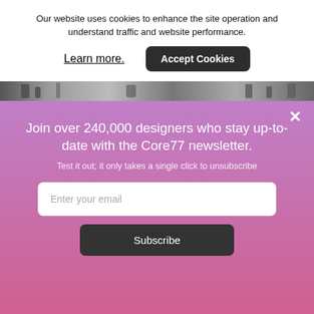Our website uses cookies to enhance the site operation and understand traffic and website performance.
Learn more.
Accept Cookies
[Figure (photo): Black and white photo strip showing partial view of people or objects]
×
Join over 240,000 designers who stay up-to-date with the Core77 newsletter.
Test it out; it only takes a single click to unsubscribe
Enter your email
Subscribe